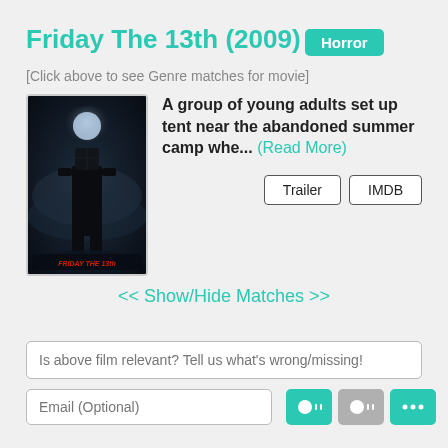Friday The 13th (2009)
Horror
[Click above to see Genre matches for movie]
[Figure (photo): Movie poster for Friday the 13th (2009) showing a dark silhouette figure with a hockey mask against a foggy background, with red title text at the bottom]
A group of young adults set up tent near the abandoned summer camp whe... (Read More)
Trailer
IMDB
<< Show/Hide Matches >>
Is above film relevant? Tell us what's wrong/missing!
Email (Optional)